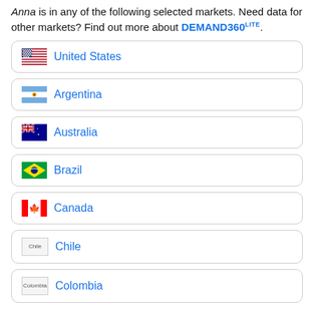Anna is in any of the following selected markets. Need data for other markets? Find out more about DEMAND360LITE.
United States
Argentina
Australia
Brazil
Canada
Chile
Colombia